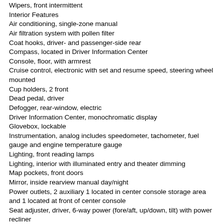Wipers, front intermittent
Interior Features
Air conditioning, single-zone manual
Air filtration system with pollen filter
Coat hooks, driver- and passenger-side rear
Compass, located in Driver Information Center
Console, floor, with armrest
Cruise control, electronic with set and resume speed, steering wheel mounted
Cup holders, 2 front
Dead pedal, driver
Defogger, rear-window, electric
Driver Information Center, monochromatic display
Glovebox, lockable
Instrumentation, analog includes speedometer, tachometer, fuel gauge and engine temperature gauge
Lighting, front reading lamps
Lighting, interior with illuminated entry and theater dimming
Map pockets, front doors
Mirror, inside rearview manual day/night
Power outlets, 2 auxiliary 1 located in center console storage area and 1 located at front of center console
Seat adjuster, driver, 6-way power (fore/aft, up/down, tilt) with power recliner
Seat adjuster, front passenger, 6-way power (fore/aft, up/down, tilt) with power recliner
Shift knob, leather-wrapped
Sill plate, Chevrolet
Steering column, manual rake and telescopic